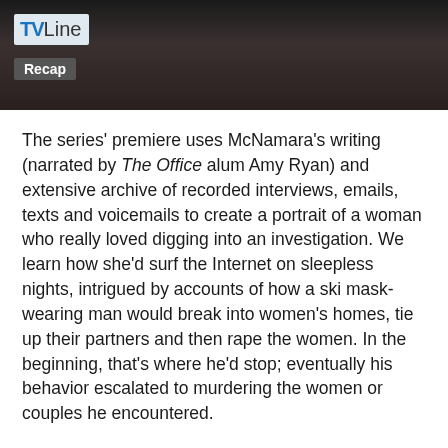[Figure (photo): Dark header image showing a figure in dark ornate clothing, with TVLine Recap logo overlay in top left]
The series' premiere uses McNamara's writing (narrated by The Office alum Amy Ryan) and extensive archive of recorded interviews, emails, texts and voicemails to create a portrait of a woman who really loved digging into an investigation. We learn how she'd surf the Internet on sleepless nights, intrigued by accounts of how a ski mask-wearing man would break into women's homes, tie up their partners and then rape the women. In the beginning, that's where he'd stop; eventually his behavior escalated to murdering the women or couples he encountered.
“Everyone has their cause, and this just feels like what I was born to do,” McNamara says in an old interview. The premiere also features interviews with those involved